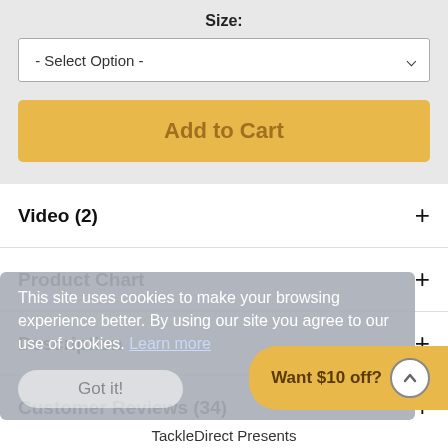Size:
- Select Option -
Add to Cart
Video (2)
Product Chart
Description
Customer Reviews (34)
Customer Q&A
This site uses cookies to make your browsing experience better. By using our site you agree to our use of cookies. Learn more
Got it!
Want $10 off?
TackleDirect Presents